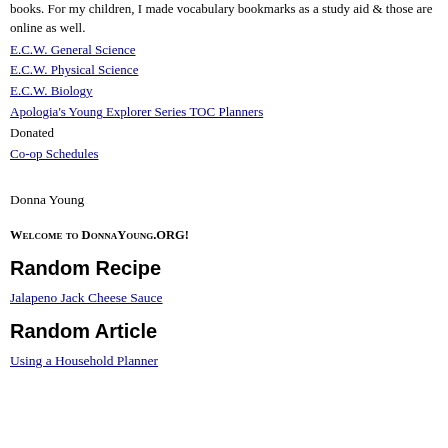books. For my children, I made vocabulary bookmarks as a study aid & those are online as well.
E.C.W. General Science
E.C.W. Physical Science
E.C.W. Biology
Apologia's Young Explorer Series TOC Planners
Donated Co-op Schedules
Donna Young
Welcome to DonnaYoung.org!
Random Recipe
Jalapeno Jack Cheese Sauce
Random Article
Using a Household Planner